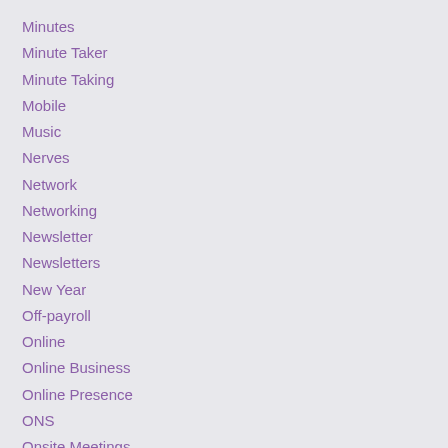Minutes
Minute Taker
Minute Taking
Mobile
Music
Nerves
Network
Networking
Newsletter
Newsletters
New Year
Off-payroll
Online
Online Business
Online Presence
ONS
Onsite Meetings
Optimisation
Optimise